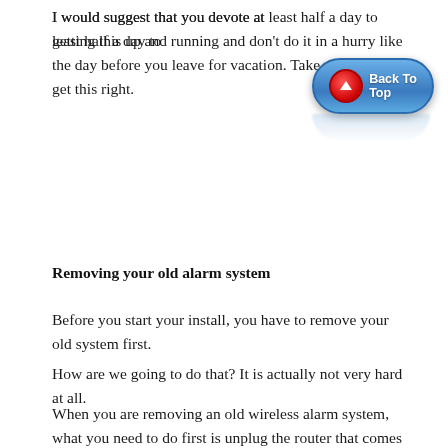I would suggest that you devote at least half a day to getting this up and running and don't do it in a hurry like the day before you leave for vacation. Take some time to get this right.
[Figure (illustration): Blue oval 'Back To Top' button with red circular arrow icon and reflection effect]
Removing your old alarm system
Before you start your install, you have to remove your old system first.
How are we going to do that? It is actually not very hard at all.
When you are removing an old wireless alarm system, what you need to do first is unplug the router that comes with the system. This will shut down everything else.